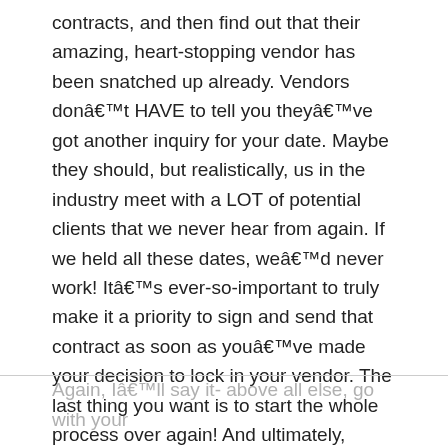contracts, and then find out that their amazing, heart-stopping vendor has been snatched up already. Vendors donât HAVE to tell you theyâve got another inquiry for your date. Maybe they should, but realistically, us in the industry meet with a LOT of potential clients that we never hear from again. If we held all these dates, weâd never work! Itâs ever-so-important to truly make it a priority to sign and send that contract as soon as youâve made your decision to lock in your vendor. The last thing you want is to start the whole process over again! And ultimately, youâll have the best attitude after you cross another BIG ticket item off your list.
Again, Iâll say it- above all else, go with your